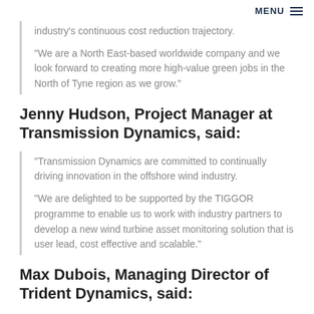MENU ☰
industry's continuous cost reduction trajectory.
“We are a North East-based worldwide company and we look forward to creating more high-value green jobs in the North of Tyne region as we grow.”
Jenny Hudson, Project Manager at Transmission Dynamics, said:
“Transmission Dynamics are committed to continually driving innovation in the offshore wind industry.
“We are delighted to be supported by the TIGGOR programme to enable us to work with industry partners to develop a new wind turbine asset monitoring solution that is user lead, cost effective and scalable.”
Max Dubois, Managing Director of Trident Dynamics, said: